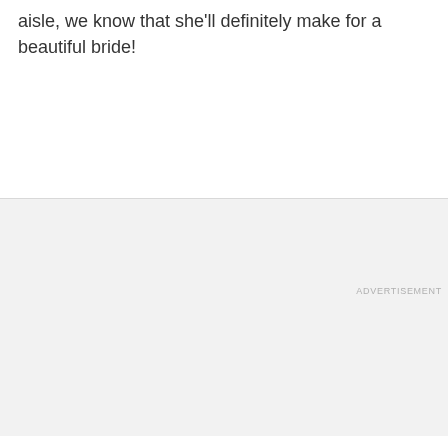aisle, we know that she'll definitely make for a beautiful bride!
ADVERTISEMENT